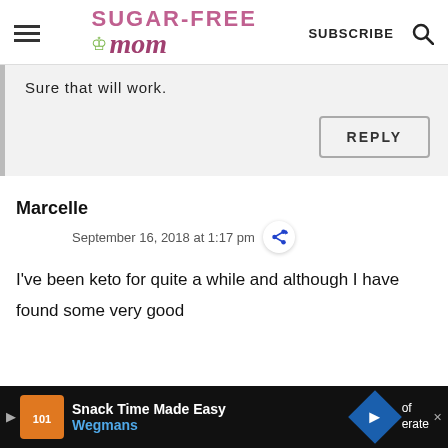Sugar-Free Mom | SUBSCRIBE
Sure that will work.
REPLY
Marcelle
September 16, 2018 at 1:17 pm
I've been keto for quite a while and although I have found some very good
[Figure (screenshot): Wegmans advertisement bar: Snack Time Made Easy / Wegmans]